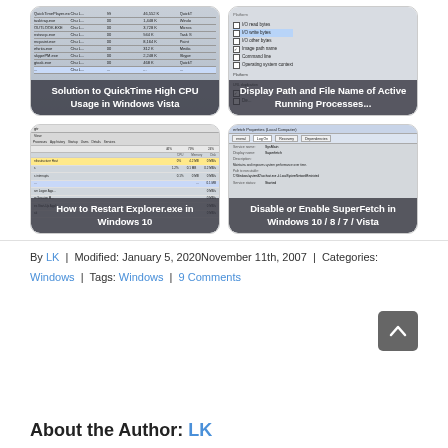[Figure (screenshot): Thumbnail screenshot showing Windows process list (Task Manager style), with overlay caption 'Solution to QuickTime High CPU Usage in Windows Vista']
[Figure (screenshot): Thumbnail screenshot showing Windows checkbox dialog for process columns including I/O read bytes, I/O write bytes, etc., with overlay caption 'Display Path and File Name of Active Running Processes...']
[Figure (screenshot): Thumbnail screenshot showing Windows 10 Task Manager with CPU/Memory/Disk columns, with overlay caption 'How to Restart Explorer.exe in Windows 10']
[Figure (screenshot): Thumbnail screenshot showing SuperFetch Properties (Local Computer) service dialog, with overlay caption 'Disable or Enable SuperFetch in Windows 10 / 8 / 7 / Vista']
By LK | Modified: January 5, 2020November 11th, 2007 | Categories: Windows | Tags: Windows | 9 Comments
About the Author: LK